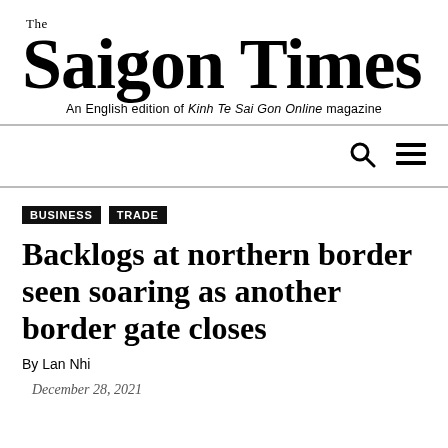The Saigon Times — An English edition of Kinh Te Sai Gon Online magazine
BUSINESS
TRADE
Backlogs at northern border seen soaring as another border gate closes
By Lan Nhi
December 28, 2021